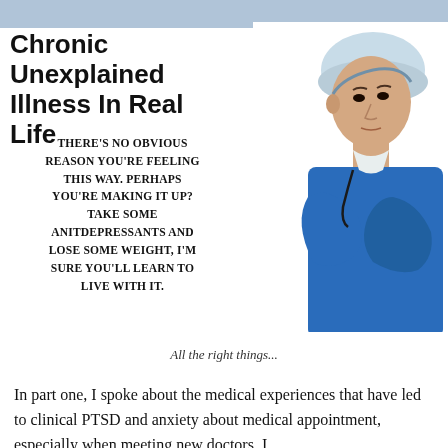Chronic Unexplained Illness In Real Life
[Figure (photo): A male doctor in blue scrubs and surgical cap with arms crossed, looking downward with a serious expression]
THERE'S NO OBVIOUS REASON YOU'RE FEELING THIS WAY. PERHAPS YOU'RE MAKING IT UP? TAKE SOME ANITDEPRESSANTS AND LOSE SOME WEIGHT, I'M SURE YOU'LL LEARN TO LIVE WITH IT.
All the right things...
In part one, I spoke about the medical experiences that have led to clinical PTSD and anxiety about medical appointment, especially when meeting new doctors. I